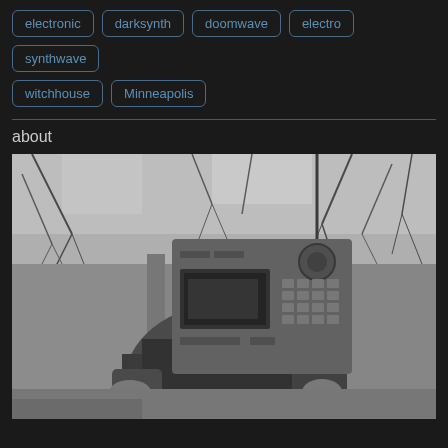electronic
darksynth
doomwave
electro
synthwave
witchhouse
Minneapolis
about
[Figure (photo): Black and white photo of a person holding a music production device (appears to be an MPC or similar beat machine) up in front of their face, obscuring it. Background shows bare trees in an outdoor winter setting.]